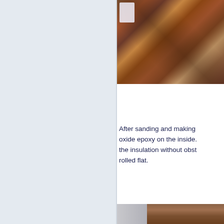[Figure (photo): Interior wooden structure/framing showing wood panels, boards and what appears to be a white paper or document in the upper right corner]
After sanding and making oxide epoxy on the inside. the insulation without obst rolled flat.
[Figure (photo): Bottom photo showing wooden interior surface, partially visible]